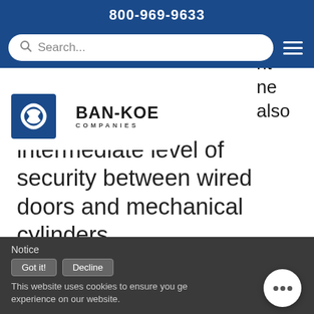800-969-9633
[Figure (screenshot): Search bar with magnifying glass icon and placeholder text 'Search...' on blue background, with hamburger menu icon to the right]
nt
ne
also
[Figure (logo): Ban-Koe Companies logo with blue stylized icon and bold text BAN-KOE COMPANIES]
intermediate level of security between wired doors and mechanical cylinders.
ASSA ABLOY Group Brands
Notice
Got it!  Decline
This website uses cookies to ensure you get the best experience on our website.